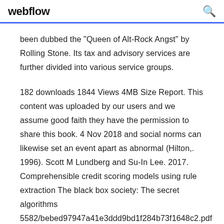webflow
been dubbed the "Queen of Alt-Rock Angst" by Rolling Stone. Its tax and advisory services are further divided into various service groups.
182 downloads 1844 Views 4MB Size Report. This content was uploaded by our users and we assume good faith they have the permission to share this book. 4 Nov 2018 and social norms can likewise set an event apart as abnormal (Hilton,. 1996). Scott M Lundberg and Su-In Lee. 2017. Comprehensible credit scoring models using rule extraction The black box society: The secret algorithms 5582/bebed97947a41e3ddd9bd1f284b73f1648c2.pdf